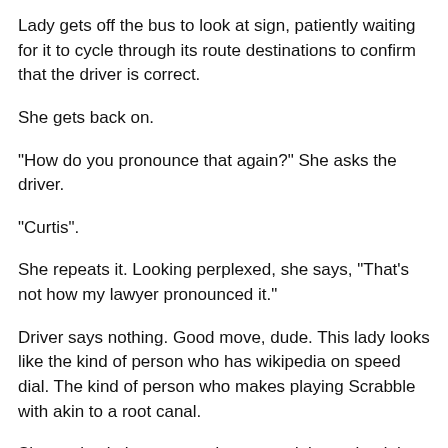Lady gets off the bus to look at sign, patiently waiting for it to cycle through its route destinations to confirm that the driver is correct.
She gets back on.
"How do you pronounce that again?" She asks the driver.
"Curtis".
She repeats it. Looking perplexed, she says, "That's not how my lawyer pronounced it."
Driver says nothing. Good move, dude. This lady looks like the kind of person who has wikipedia on speed dial. The kind of person who makes playing Scrabble with akin to a root canal.
She settles in her seat and starts to debate aloud the pronunciation of "Courtice" with the driver who, judging by his body language, could clearly not give a crap.